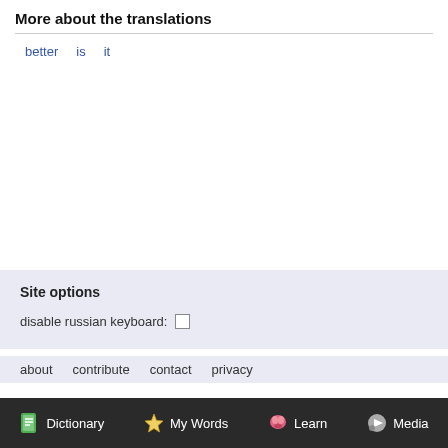More about the translations
better   is   it
Site options
disable russian keyboard: ☐
about   contribute   contact   privacy
Dictionary   My Words   Learn   Media